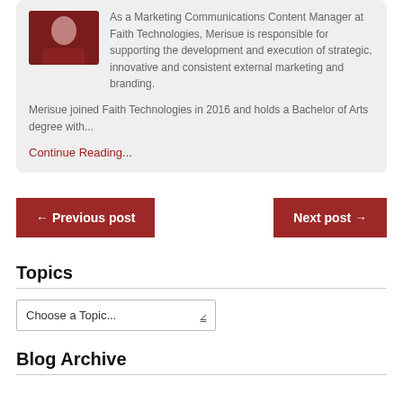[Figure (photo): Small portrait photo of a woman in a dark red top, partial view at top-left of card]
As a Marketing Communications Content Manager at Faith Technologies, Merisue is responsible for supporting the development and execution of strategic, innovative and consistent external marketing and branding.
Merisue joined Faith Technologies in 2016 and holds a Bachelor of Arts degree with...
Continue Reading...
← Previous post
Next post →
Topics
Choose a Topic...
Blog Archive